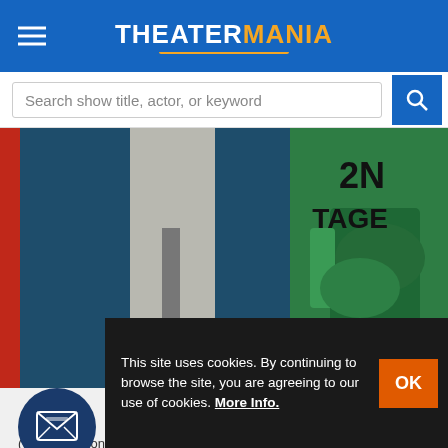THEATERMANIA
Search show title, actor, or keyword
[Figure (photo): Two people posing in front of a red background with '2nd Stage' text. Person on left in blue suit, person on right in green dress.]
Keenan-Bolger and Celia Keenan-Bolger at the Stage Gala.
(© Tricia Baron)
In ce... Second Stage with honor actors for their continued collaboration with the institution, from
This site uses cookies. By continuing to browse the site, you are agreeing to our use of cookies. More Info.